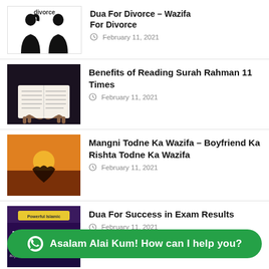[Figure (illustration): Silhouette of two people back to back with 'divorce' label above]
Dua For Divorce – Wazifa For Divorce
February 11, 2021
[Figure (photo): Person reading the Quran, dark background]
Benefits of Reading Surah Rahman 11 Times
February 11, 2021
[Figure (photo): Heart shape silhouette against orange sunset sky]
Mangni Todne Ka Wazifa – Boyfriend Ka Rishta Todne Ka Wazifa
February 11, 2021
[Figure (photo): Thumbnail with text: Powerful Islamic, DUA FOR SUCC, ady, money, marriage, Interview, h]
Dua For Success in Exam Results
February 11, 2021
[Figure (photo): Partial thumbnail visible at bottom, partially obscured by WhatsApp bar]
January 12, 2021
Asalam Alai Kum! How can I help you?